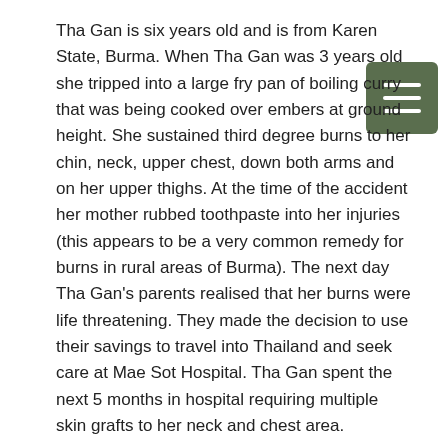Tha Gan is six years old and is from Karen State, Burma. When Tha Gan was 3 years old she tripped into a large fry pan of boiling curry that was being cooked over embers at ground height. She sustained third degree burns to her chin, neck, upper chest, down both arms and on her upper thighs. At the time of the accident her mother rubbed toothpaste into her injuries (this appears to be a very common remedy for burns in rural areas of Burma). The next day Tha Gan's parents realised that her burns were life threatening. They made the decision to use their savings to travel into Thailand and seek care at Mae Sot Hospital. Tha Gan spent the next 5 months in hospital requiring multiple skin grafts to her neck and chest area.
No contingency plans were in place for the follow-up care that would be required for when Tha Gan's body would grow but her scar tissue would not. Three years after the accident, a thick